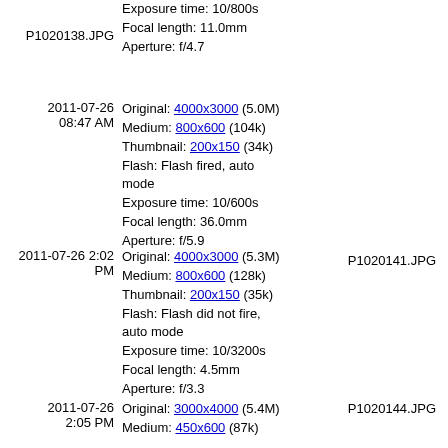P1020138.JPG – Exposure time: 10/800s, Focal length: 11.0mm, Aperture: f/4.7
P1020139.JPG – Exposure time (partial), Focal length (partial), Aperture (partial)
2011-07-26 08:47 AM – P1020141.JPG – Original: 4000x3000 (5.0M), Medium: 800x600 (104k), Thumbnail: 200x150 (34k), Flash: Flash fired, auto mode, Exposure time: 10/600s, Focal length: 36.0mm, Aperture: f/5.9
2011-07-26 08:48 AM – P1020142.JPG – Original/Medium/Thumbnail/Flash/Exposure/Focal/Aperture (partial)
2011-07-26 2:02 PM – P1020144.JPG – Original: 4000x3000 (5.3M), Medium: 800x600 (128k), Thumbnail: 200x150 (35k), Flash: Flash did not fire, auto mode, Exposure time: 10/3200s, Focal length: 4.5mm, Aperture: f/3.3
2011-07-26 2:02 PM – P1020145.JPG – Original/Medium/Thumbnail/Flash/Exposure/Focal/Aperture (partial)
2011-07-26 2:05 PM – Original: 3000x4000 (5.4M), Medium: 450x600 (87k)
2011-07-26 2:06 PM – Original (partial)